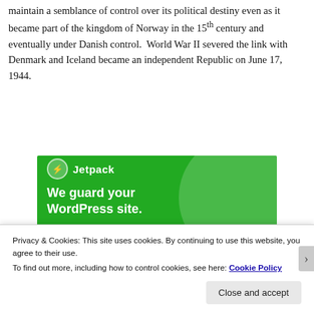maintain a semblance of control over its political destiny even as it became part of the kingdom of Norway in the 15th century and eventually under Danish control.  World War II severed the link with Denmark and Iceland became an independent Republic on June 17, 1944.
[Figure (other): Jetpack advertisement banner with green background showing logo, decorative circle, and text: 'We guard your WordPress site. You run your business.']
Privacy & Cookies: This site uses cookies. By continuing to use this website, you agree to their use.
To find out more, including how to control cookies, see here: Cookie Policy